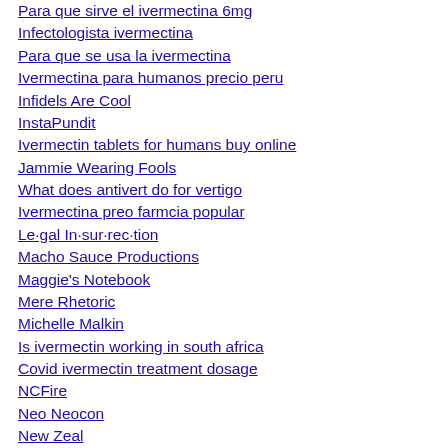Para que sirve el ivermectina 6mg
Infectologista ivermectina
Para que se usa la ivermectina
Ivermectina para humanos precio peru
Infidels Are Cool
InstaPundit
Ivermectin tablets for humans buy online
Jammie Wearing Fools
What does antivert do for vertigo
Ivermectina preo farmcia popular
Le·gal In·sur·rec·tion
Macho Sauce Productions
Maggie's Notebook
Mere Rhetoric
Michelle Malkin
Is ivermectin working in south africa
Covid ivermectin treatment dosage
NCFire
Neo Neocon
New Zeal
Ivermectina uso veterinario en humanos
Tanio ivermec
No Frakking Consensus
Ivermite 6mg tablet
Como tomar ivermectina para los piojos
How fast does ivermectin kill lice